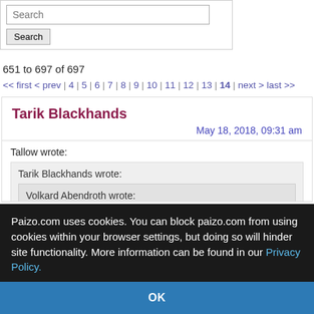[Figure (screenshot): Search input box with placeholder text 'Search' and a Search button below it, inside a bordered area]
651 to 697 of 697
<< first < prev | 4 | 5 | 6 | 7 | 8 | 9 | 10 | 11 | 12 | 13 | 14 | next > last >>
Tarik Blackhands
May 18, 2018, 09:31 am
Tallow wrote:
Tarik Blackhands wrote:
Volkard Abendroth wrote:
Tarik Blackhands wrote:
Paizo.com uses cookies. You can block paizo.com from using cookies within your browser settings, but doing so will hinder site functionality. More information can be found in our Privacy Policy.
OK